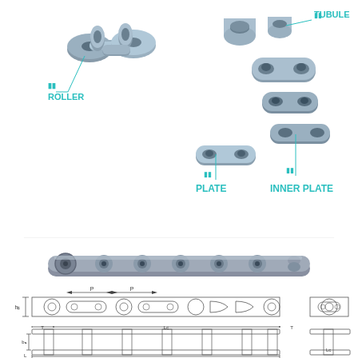[Figure (engineering-diagram): Exploded view of roller chain components with labels: TUBULE (top right), ROLLER (left), PLATE (center), INNER PLATE (right). Parts shown are metallic gray 3D renders of chain links, tubes, rollers, and plates.]
[Figure (photo): Side-view photo of an assembled roller chain segment showing multiple links.]
[Figure (engineering-diagram): Technical top-view drawing of roller chain with dimension labels P, P (pitch), h2, and side end-view. Shows chain links in cross-section with dimension arrows.]
[Figure (engineering-diagram): Technical side/front-view drawing of roller chain showing dimensions T, Lc, T, L, b1, and Lc. Shows chain cross-section with dimension lines and arrows.]